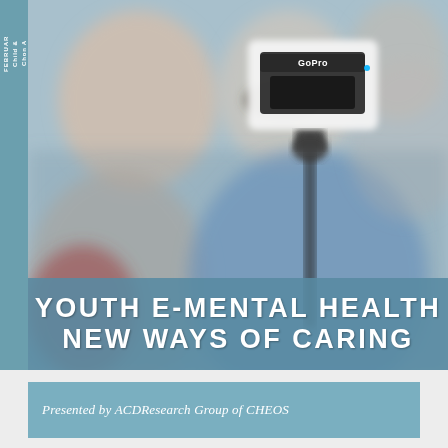[Figure (photo): A blurred crowd scene with a person holding a GoPro camera on a selfie stick in the foreground. A woman in a blue tank top is visible in the background along with other blurred figures. The image serves as the main visual background for the conference flyer.]
5th Annual e-Mental Health
FEBRUARY
Child &
Chon A
950 West 28th Av
YOUTH E-MENTAL HEALTH
NEW WAYS OF CARING
Presented by ACDResearch Group of CHEOS